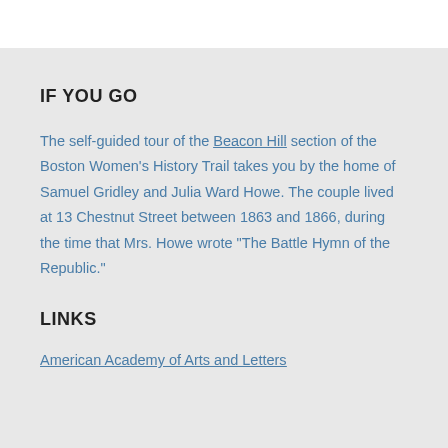IF YOU GO
The self-guided tour of the Beacon Hill section of the Boston Women's History Trail takes you by the home of Samuel Gridley and Julia Ward Howe. The couple lived at 13 Chestnut Street between 1863 and 1866, during the time that Mrs. Howe wrote "The Battle Hymn of the Republic."
LINKS
American Academy of Arts and Letters